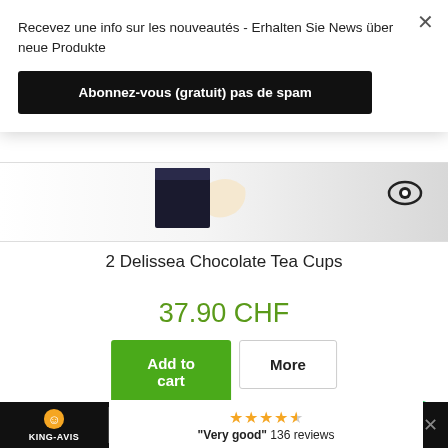Recevez une info sur les nouveautés - Erhalten Sie News über neue Produkte
Abonnez-vous (gratuit) pas de spam
[Figure (photo): Product image area showing chocolate tea cups, partially visible]
2 Delissea Chocolate Tea Cups
37.90 CHF
Add to cart
More
In Stock
"Very good" 136 reviews
KING-AVIS